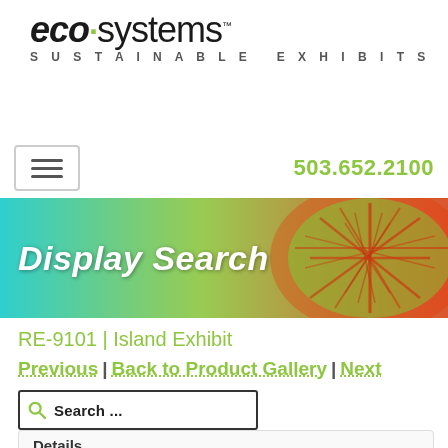[Figure (logo): eco·systems Sustainable Exhibits logo with green dot/leaf accent]
503.652.2100
[Figure (photo): Hero banner with 'Display Search' text over a teal-to-green gradient background with a close-up red leaf vein texture image on the right]
RE-9101 | Island Exhibit
Previous | Back to Product Gallery | Next
Search ...
advanced search | return home
Details